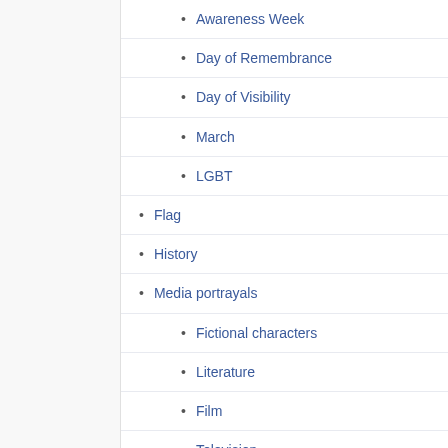Awareness Week
Day of Remembrance
Day of Visibility
March
LGBT
Flag
History
Media portrayals
Fictional characters
Literature
Film
Television
People
Non-binary
Publications